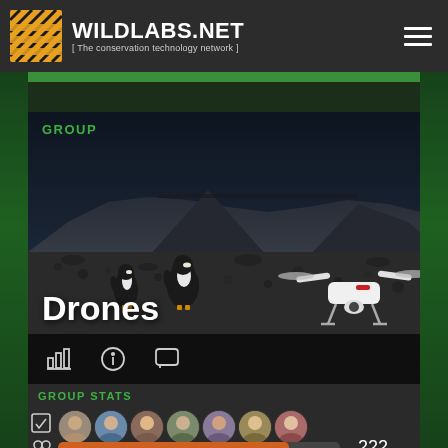WILDLABS.NET [ The conservation technology network ]
GROUP
[Figure (photo): Aerial photo of penguins and a drone on rocky Antarctic terrain with mountains in background]
Drones
GROUP STATS
222